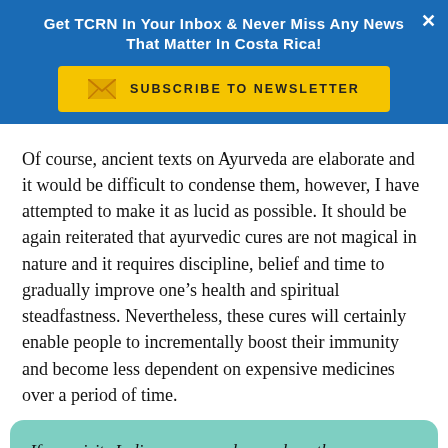Get TCRN In Your Inbox & Never Miss Any News That Matter In Costa Rica!
[Figure (other): Yellow Subscribe to Newsletter button with envelope icon on blue background]
Of course, ancient texts on Ayurveda are elaborate and it would be difficult to condense them, however, I have attempted to make it as lucid as possible. It should be again reiterated that ayurvedic cures are not magical in nature and it requires discipline, belief and time to gradually improve one’s health and spiritual steadfastness. Nevertheless, these cures will certainly enable people to incrementally boost their immunity and become less dependent on expensive medicines over a period of time.
If one visits India, one may observe how the comm… in such practices on a regular basi… …by the fact that still d…